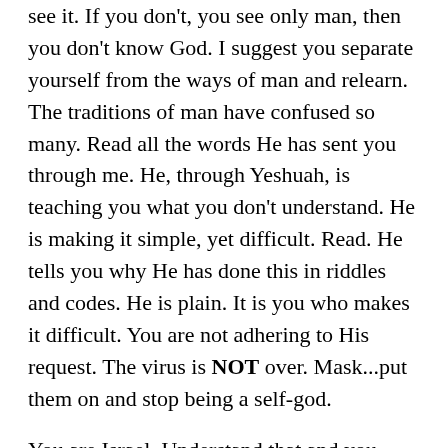see it. If you don't, you see only man, then you don't know God. I suggest you separate yourself from the ways of man and relearn. The traditions of man have confused so many. Read all the words He has sent you through me. He, through Yeshuah, is teaching you what you don't understand. He is making it simple, yet difficult. Read. He tells you why He has done this in riddles and codes. He is plain. It is you who makes it difficult. You are not adhering to His request. The virus is NOT over. Mask...put them on and stop being a self-god.
You are Israel. Understand that and you understand much.